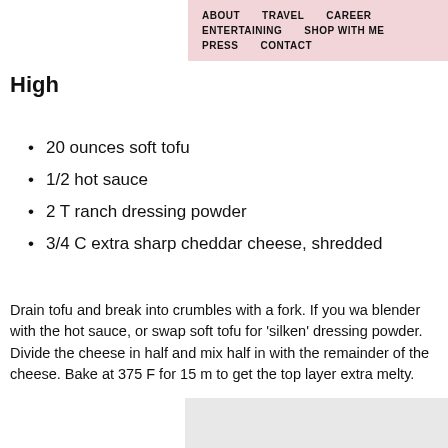ABOUT   TRAVEL   CAREER
ENTERTAINING   SHOP WITH ME
PRESS   CONTACT
High
20 ounces soft tofu
1/2 hot sauce
2 T ranch dressing powder
3/4 C extra sharp cheddar cheese, shredded
Drain tofu and break into crumbles with a fork. If you wa blender with the hot sauce, or swap soft tofu for 'silken' dressing powder. Divide the cheese in half and mix half in with the remainder of the cheese. Bake at 375 F for 15 m to get the top layer extra melty.
[Figure (photo): Food photo, light gray background with plant/food visible at bottom right]